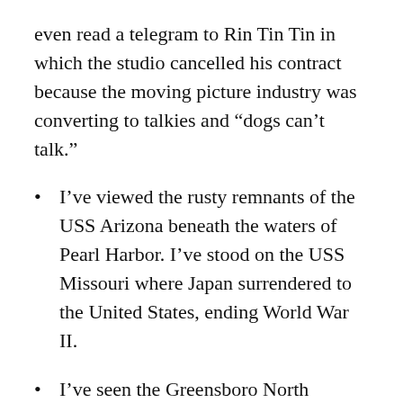even read a telegram to Rin Tin Tin in which the studio cancelled his contract because the moving picture industry was converting to talkies and “dogs can’t talk.”
I’ve viewed the rusty remnants of the USS Arizona beneath the waters of Pearl Harbor. I’ve stood on the USS Missouri where Japan surrendered to the United States, ending World War II.
I’ve seen the Greensboro North Carolina lunch counter where four courageous African American students sat on February 1, 1960, to protest the “whites only” service policy.
I’ve felt a moon rock